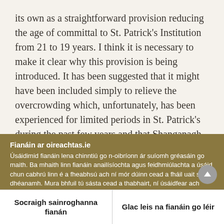its own as a straightforward provision reducing the age of committal to St. Patrick's Institution from 21 to 19 years. I think it is necessary to make it clear why this provision is being introduced. It has been suggested that it might have been included simply to relieve the overcrowding which, unfortunately, has been experienced for limited periods in St. Patrick's during the past few years and that Shanganagh is
Fianáin ar oireachtas.ie
Úsáidimid fianáin lena chinntiú go n-oibríonn ár suíomh gréasáin go maith. Ba mhaith linn fianáin anailísíochta agus feidhmiúlachta a úsáid chun cabhrú linn é a fheabhsú ach ní mór dúinn cead a fháil uait sin a dhéanamh. Mura bhfuil tú sásta cead a thabhairt, ní úsáidfear ach fianáin riachtanacha. Léigh tuileadh faoinár bhfianáin
Socraigh sainroghanna fianán
Glac leis na fianáin go léir